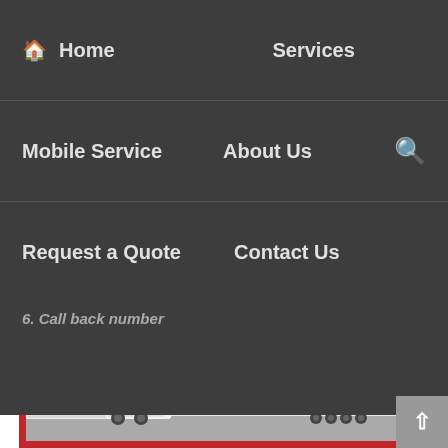Home | Services | Mobile Service | About Us | Request a Quote | Contact Us
6. Call back number
[Figure (photo): A white semi-truck with trailer branded 'Southwest' parked in a lot, with additional white trailers visible in the background. The image is framed with a thick red border.]